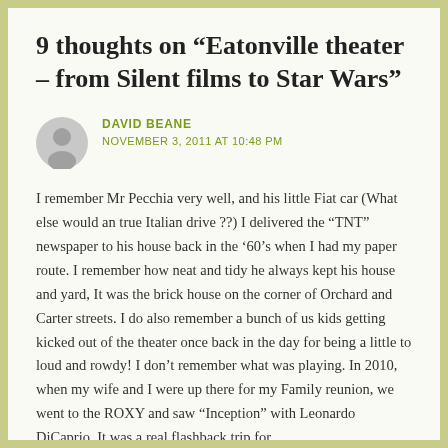9 thoughts on “Eatonville theater – from Silent films to Star Wars”
DAVID BEANE
NOVEMBER 3, 2011 AT 10:48 PM
I remember Mr Pecchia very well, and his little Fiat car (What else would an true Italian drive ??) I delivered the “TNT” newspaper to his house back in the ’60’s when I had my paper route. I remember how neat and tidy he always kept his house and yard, It was the brick house on the corner of Orchard and Carter streets. I do also remember a bunch of us kids getting kicked out of the theater once back in the day for being a little to loud and rowdy! I don’t remember what was playing. In 2010, when my wife and I were up there for my Family reunion, we went to the ROXY and saw “Inception” with Leonardo DiCaprio. It was a real flashback trip for